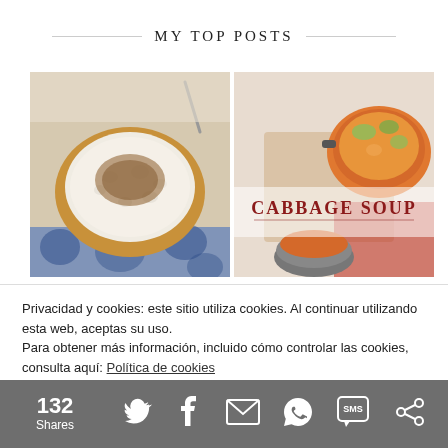MY TOP POSTS
[Figure (photo): Two food photos side by side: left shows a bowl of rice pudding with cinnamon topping on a blue patterned cloth; right shows cabbage soup in a pot with text overlay 'CABBAGE SOUP']
Privacidad y cookies: este sitio utiliza cookies. Al continuar utilizando esta web, aceptas su uso.
Para obtener más información, incluido cómo controlar las cookies, consulta aquí: Política de cookies
132 Shares